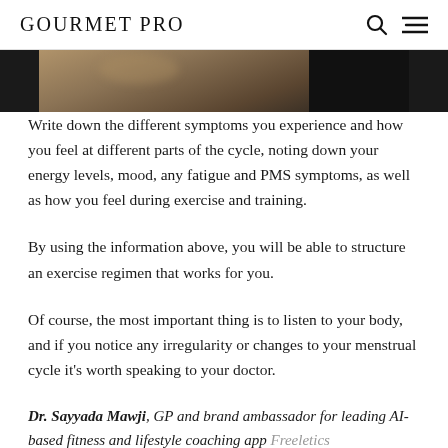GOURMET PRO
[Figure (photo): Partial photograph visible at top of page, showing a person or food-related image, cropped]
Write down the different symptoms you experience and how you feel at different parts of the cycle, noting down your energy levels, mood, any fatigue and PMS symptoms, as well as how you feel during exercise and training.
By using the information above, you will be able to structure an exercise regimen that works for you.
Of course, the most important thing is to listen to your body, and if you notice any irregularity or changes to your menstrual cycle it's worth speaking to your doctor.
Dr. Sayyada Mawji, GP and brand ambassador for leading AI-based fitness and lifestyle coaching app Freeletics